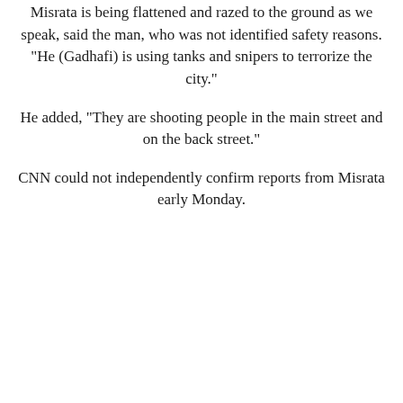Misrata is being flattened and razed to the ground as we speak, said the man, who was not identified safety reasons. "He (Gadhafi) is using tanks and snipers to terrorize the city."
He added, "They are shooting people in the main street and on the back street."
CNN could not independently confirm reports from Misrata early Monday.